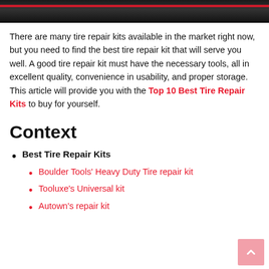[Figure (photo): Close-up photo of a dark tire tread, partially visible at the top of the page, with a red line running horizontally across it.]
There are many tire repair kits available in the market right now, but you need to find the best tire repair kit that will serve you well. A good tire repair kit must have the necessary tools, all in excellent quality, convenience in usability, and proper storage. This article will provide you with the Top 10 Best Tire Repair Kits to buy for yourself.
Context
Best Tire Repair Kits
Boulder Tools' Heavy Duty Tire repair kit
Tooluxe's Universal kit
Autown's repair kit